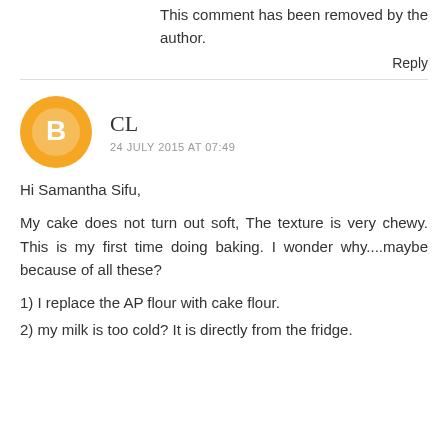This comment has been removed by the author.
Reply
CL
24 JULY 2015 AT 07:49
Hi Samantha Sifu,
My cake does not turn out soft, The texture is very chewy. This is my first time doing baking. I wonder why....maybe because of all these?
1) I replace the AP flour with cake flour.
2) my milk is too cold? It is directly from the fridge.
3) ...